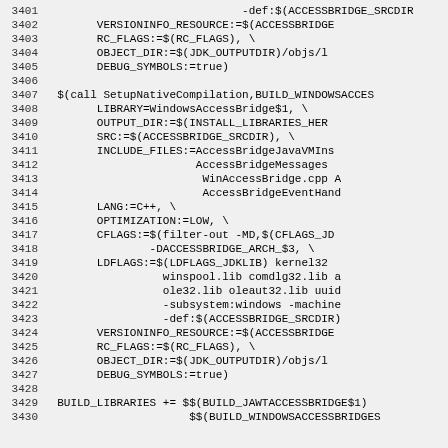[Figure (screenshot): Source code listing showing Makefile/build script lines 3401-3430 with line numbers on the left and code on the right, monospace font on light gray background.]